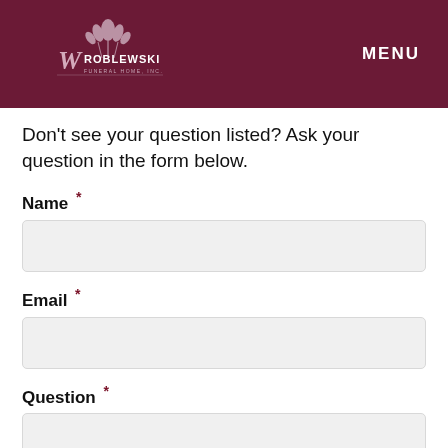Vroblewski Funeral Home, Inc. — MENU
Don't see your question listed? Ask your question in the form below.
Name *
Email *
Question *